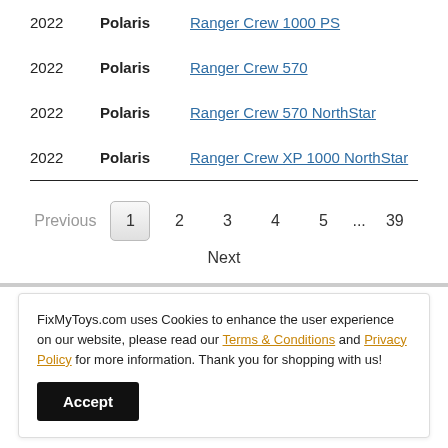2022  Polaris  Ranger Crew 1000 PS
2022  Polaris  Ranger Crew 570
2022  Polaris  Ranger Crew 570 NorthStar
2022  Polaris  Ranger Crew XP 1000 NorthStar
Previous  1  2  3  4  5  ...  39  Next
FixMyToys.com uses Cookies to enhance the user experience on our website, please read our Terms & Conditions and Privacy Policy for more information. Thank you for shopping with us!
Accept